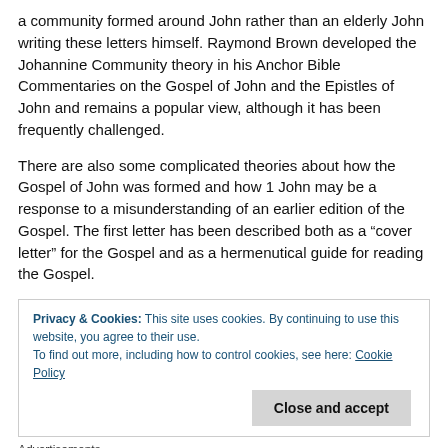a community formed around John rather than an elderly John writing these letters himself. Raymond Brown developed the Johannine Community theory in his Anchor Bible Commentaries on the Gospel of John and the Epistles of John and remains a popular view, although it has been frequently challenged.
There are also some complicated theories about how the Gospel of John was formed and how 1 John may be a response to a misunderstanding of an earlier edition of the Gospel. The first letter has been described both as a “cover letter” for the Gospel and as a hermenutical guide for reading the Gospel.
Privacy & Cookies: This site uses cookies. By continuing to use this website, you agree to their use.
To find out more, including how to control cookies, see here: Cookie Policy
[Close and accept]
Advertisements
[Figure (photo): Seamless food delivery advertisement banner with pizza image on left, Seamless logo in center-red pill, and ORDER NOW button on right with dark background.]